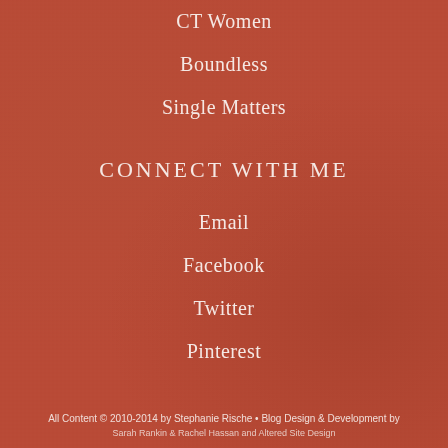CT Women
Boundless
Single Matters
CONNECT WITH ME
Email
Facebook
Twitter
Pinterest
All Content © 2010-2014 by Stephanie Rische • Blog Design & Development by